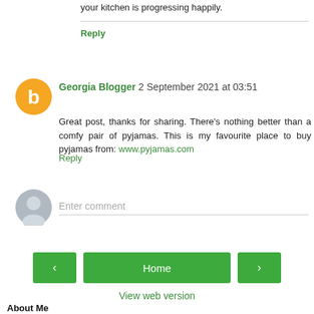your kitchen is progressing happily.
Reply
Georgia Blogger 2 September 2021 at 03:51
Great post, thanks for sharing. There's nothing better than a comfy pair of pyjamas. This is my favourite place to buy pyjamas from: www.pyjamas.com
Reply
Enter comment
Home
View web version
About Me